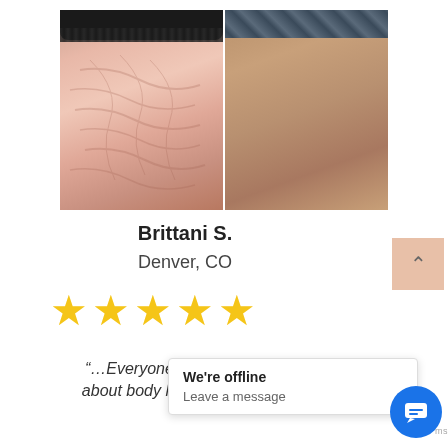[Figure (photo): Before and after comparison photos of a person's thigh showing skin texture/cellulite treatment results. Left photo shows more prominent cellulite/skin texture, right photo shows smoother skin after treatment.]
Brittani S.
Denver, CO
[Figure (other): Five gold/yellow star rating icons indicating a 5-star review]
“…Everyone                                                           t about body h                                           ou…
[Figure (screenshot): Chat popup overlay showing 'We're offline / Leave a message' with a blue chat bubble icon in the bottom right corner]